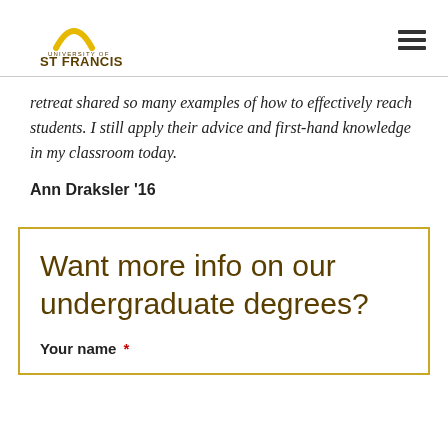University of St. Francis — Joliet, Illinois
retreat shared so many examples of how to effectively reach students. I still apply their advice and first-hand knowledge in my classroom today.
Ann Draksler '16
Want more info on our undergraduate degrees?
Your name *